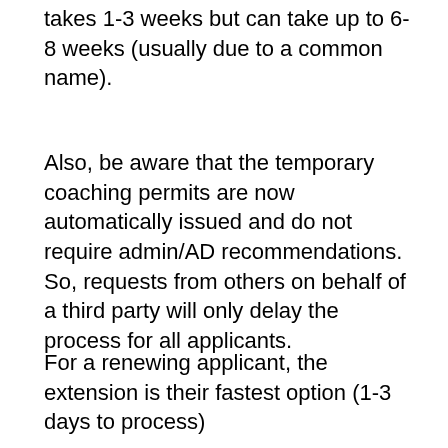takes 1-3 weeks but can take up to 6-8 weeks (usually due to a common name).
Also, be aware that the temporary coaching permits are now automatically issued and do not require admin/AD recommendations.  So, requests from others on behalf of a third party will only delay the process for all applicants.
For a renewing applicant, the extension is their fastest option (1-3 days to process)